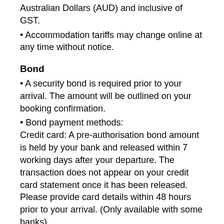Australian Dollars (AUD) and inclusive of GST.
• Accommodation tariffs may change online at any time without notice.
Bond
• A security bond is required prior to your arrival. The amount will be outlined on your booking confirmation.
• Bond payment methods:
Credit card: A pre-authorisation bond amount is held by your bank and released within 7 working days after your departure. The transaction does not appear on your credit card statement once it has been released. Please provide card details within 48 hours prior to your arrival. (Only available with some banks)
Direct debit/EFT: Payment must reach our bank account 48 hours prior to your arrival. Please email your payment receipt to